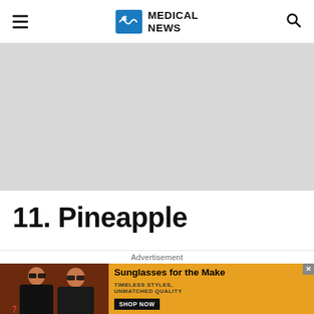Medical News
[Figure (other): Gray advertisement placeholder banner]
11. Pineapple
A...
[Figure (photo): Advertisement banner showing two women wearing sunglasses with text 'Sunglasses for the Make', 'TIMELESS STYLES, UNMATCHED QUALITY', and a 'SHOP NOW' button]